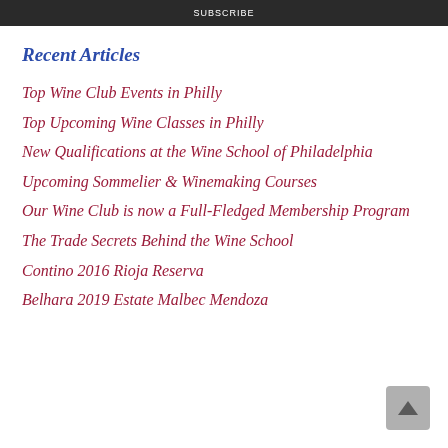SUBSCRIBE
Recent Articles
Top Wine Club Events in Philly
Top Upcoming Wine Classes in Philly
New Qualifications at the Wine School of Philadelphia
Upcoming Sommelier & Winemaking Courses
Our Wine Club is now a Full-Fledged Membership Program
The Trade Secrets Behind the Wine School
Contino 2016 Rioja Reserva
Belhara 2019 Estate Malbec Mendoza